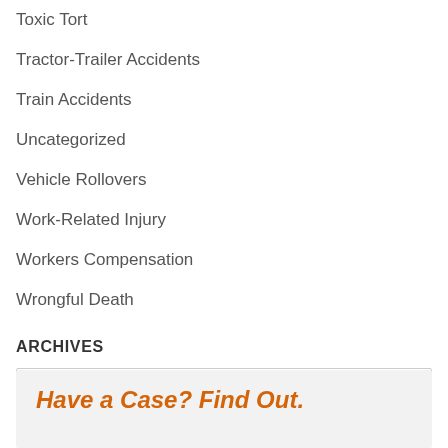Toxic Tort
Tractor-Trailer Accidents
Train Accidents
Uncategorized
Vehicle Rollovers
Work-Related Injury
Workers Compensation
Wrongful Death
ARCHIVES
Select Month
Have a Case? Find Out.